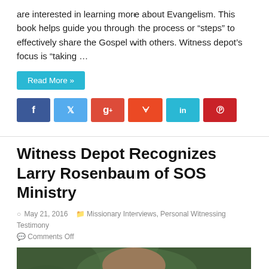are interested in learning more about Evangelism. This book helps guide you through the process or “steps” to effectively share the Gospel with others. Witness depot’s focus is “taking …
Read More »
[Figure (other): Social media sharing buttons: Facebook (f), Twitter, Google+, StumbleUpon, LinkedIn (in), Pinterest]
Witness Depot Recognizes Larry Rosenbaum of SOS Ministry
May 21, 2016   Missionary Interviews, Personal Witnessing Testimony   Comments Off
[Figure (photo): A middle-aged man with a goatee and glasses holding a microphone, speaking outdoors with green foliage background, wearing a plaid shirt.]